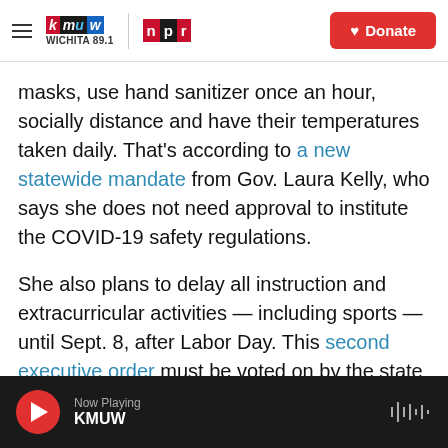KMUW Wichita 89.1 | NPR — Donate
masks, use hand sanitizer once an hour, socially distance and have their temperatures taken daily. That's according to a new statewide mandate from Gov. Laura Kelly, who says she does not need approval to institute the COVID-19 safety regulations.
She also plans to delay all instruction and extracurricular activities — including sports — until Sept. 8, after Labor Day. This second executive order must be voted on by the state Board of Education, which will meet at 10 a.m. Wednesday.
Now Playing KMUW